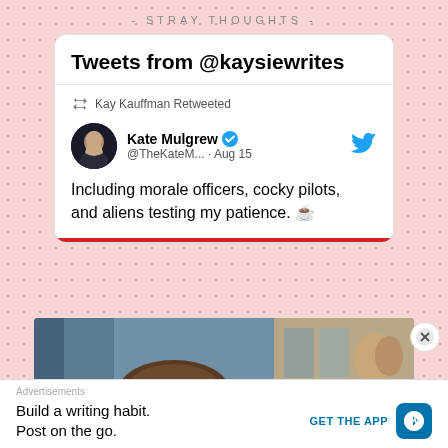- STRAY THOUGHTS -
Tweets from @kaysiewrites
Kay Kauffman Retweeted
Kate Mulgrew @TheKateM... · Aug 15
Including morale officers, cocky pilots, and aliens testing my patience. ☕
[Figure (screenshot): Partial photo strip showing top of a person's head and a second image with figurines]
Advertisements
Build a writing habit. Post on the go.
GET THE APP